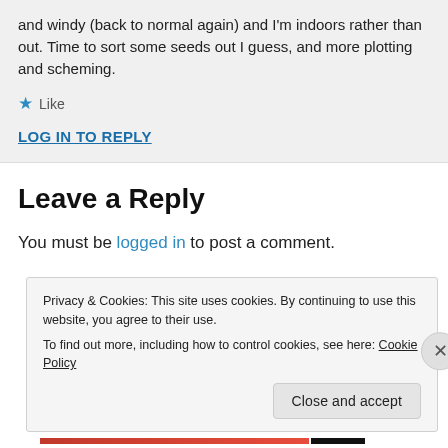and windy (back to normal again) and I’m indoors rather than out. Time to sort some seeds out I guess, and more plotting and scheming.
★ Like
LOG IN TO REPLY
Leave a Reply
You must be logged in to post a comment.
Privacy & Cookies: This site uses cookies. By continuing to use this website, you agree to their use.
To find out more, including how to control cookies, see here: Cookie Policy
Close and accept